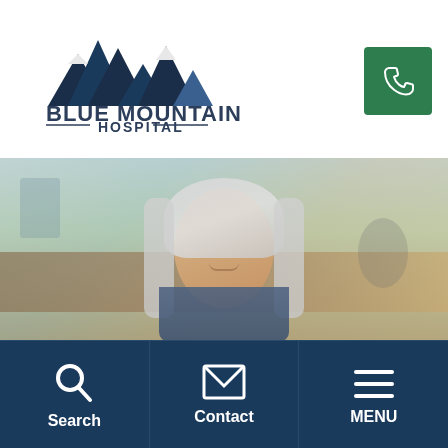[Figure (logo): Blue Mountain Hospital logo with mountain peaks icon in dark blue/navy and text 'BLUE MOUNTAIN HOSPITAL']
[Figure (photo): Photo of a middle-aged woman with long gray hair smiling, in a blurred kitchen background]
ORDER ONLINE FOR BLUE MOUNTAIN BISTRO HERE
CLOSE ALERT
[Figure (other): Bottom navigation bar with dark navy background showing Search (magnifying glass icon), Contact (envelope icon), and MENU (hamburger icon) buttons]